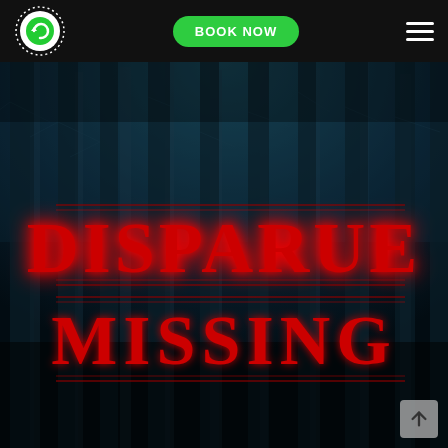[Figure (logo): Circular logo with green arrow/check icon and dotted border on black background]
[Figure (illustration): Green rounded rectangle button with bold white text BOOK NOW]
[Figure (illustration): White hamburger menu icon (three horizontal lines)]
[Figure (photo): Dark horror-themed promotional image: dark blue-tinted forest with tall bare trees at night, featuring the text DISPARUE / MISSING in large red Stranger Things style lettering with decorative borders, with a scroll-up arrow button in lower right corner]